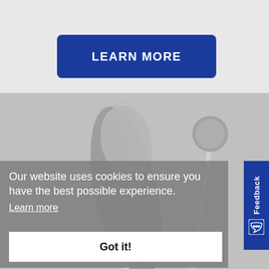LEARN MORE
[Figure (photo): Two diamond dental burs/rotary tools with textured metallic heads on thin metal shafts, one flame-shaped and one ball-shaped, overlapping diagonally on a grey background]
Our website uses cookies to ensure you have the best possible experience.
Learn more
Got it!
Feedback